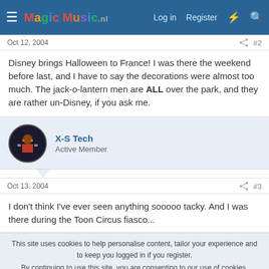MagicMusic.nl — Log in  Register
Oct 12, 2004   #2
Disney brings Halloween to France! I was there the weekend before last, and I have to say the decorations were almost too much. The jack-o-lantern men are ALL over the park, and they are rather un-Disney, if you ask me.
X-S Tech
Active Member
Oct 13, 2004   #3
I don't think I've ever seen anything sooooo tacky. And I was there during the Toon Circus fiasco...
This site uses cookies to help personalise content, tailor your experience and to keep you logged in if you register.
By continuing to use this site, you are consenting to our use of cookies.